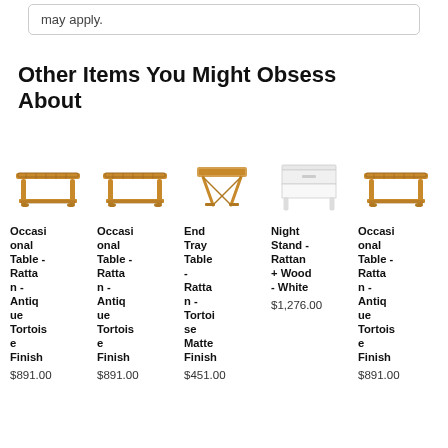may apply.
Other Items You Might Obsess About
[Figure (photo): Occasional Table - Rattan - Antique Tortoise Finish, product image]
Occasional Table - Rattan - Antique Tortoise Finish
$891.00
[Figure (photo): Occasional Table - Rattan - Antique Tortoise Finish, product image 2]
Occasional Table - Rattan - Antique Tortoise Finish
$891.00
[Figure (photo): End Tray Table - Rattan - Tortoise Matte Finish, product image]
End Tray Table - Rattan - Tortoise Matte Finish
$451.00
[Figure (photo): Night Stand - Rattan + Wood - White, product image]
Night Stand - Rattan + Wood - White
$1,276.00
[Figure (photo): Occasional Table - Rattan - Antique Tortoise Finish, product image 3]
Occasional Table - Rattan - Antique Tortoise Finish
$891.00